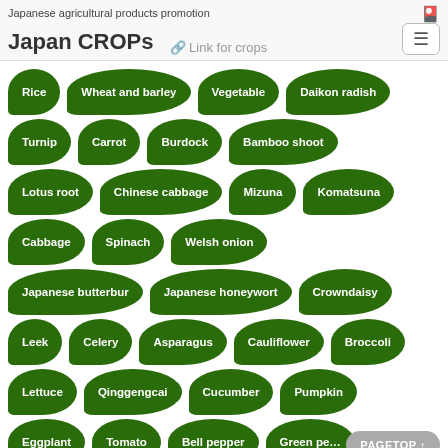Japanese agricultural products promotion
Japan CROPs
🔗 Link for crops
[Figure (infographic): A grid of green leaf-shaped buttons representing Japanese crop categories including Rice, Wheat and barley, Vegetable, Daikon radish, Turnip, Carrot, Burdock, Bamboo shoot, Lotus root, Chinese cabbage, Mizuna, Komatsuna, Cabbage, Spinach, Welsh onion, Japanese butterbur, Japanese honeywort, Crowndaisy, Leek, Celery, Asparagus, Cauliflower, Broccoli, Lettuce, Qinggengcai, Cucumber, Pumpkin, Eggplant, Tomato, Bell pepper, Green pepper, Green soybean, Sweet potato (rhizomes), Potato]